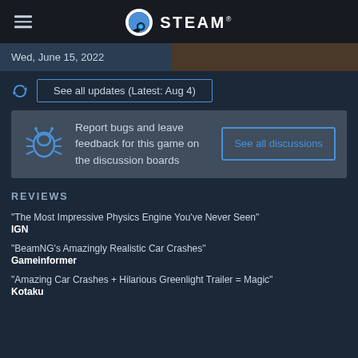STEAM
Wed, June 15, 2022
See all updates (Latest: Aug 4)
Report bugs and leave feedback for this game on the discussion boards
See all discussions
REVIEWS
"The Most Impressive Physics Engine You've Never Seen"
IGN
"BeamNG's Amazingly Realistic Car Crashes"
Gameinformer
"Amazing Car Crashes + Hilarious Greenlight Trailer = Magic"
Kotaku